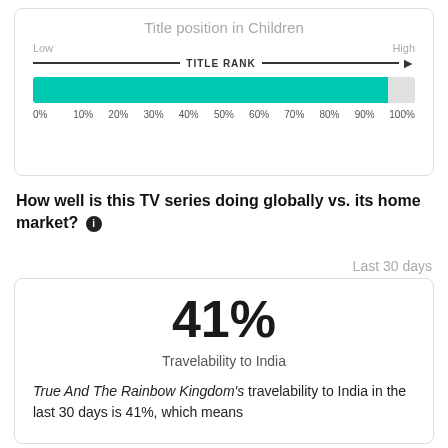[Figure (other): A horizontal rank bar chart showing title position in Children category. A teal filled bar spans approximately 93% of the range from 0% to 100%, with tick marks at 0%, 10%, 20%, 30%, 40%, 50%, 60%, 70%, 80%, 90%, 100%. An arrow labeled TITLE RANK spans Low to High.]
How well is this TV series doing globally vs. its home market?
Last 30 days
41%
Travelability to India
True And The Rainbow Kingdom's travelability to India in the last 30 days is 41%, which means